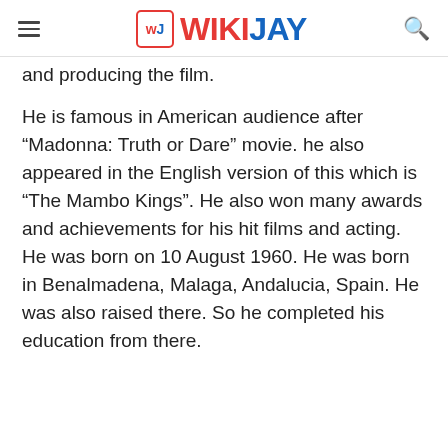WIKIJAY
and producing the film.
He is famous in American audience after “Madonna: Truth or Dare” movie. he also appeared in the English version of this which is “The Mambo Kings”. He also won many awards and achievements for his hit films and acting. He was born on 10 August 1960. He was born in Benalmadena, Malaga, Andalucia, Spain. He was also raised there. So he completed his education from there.